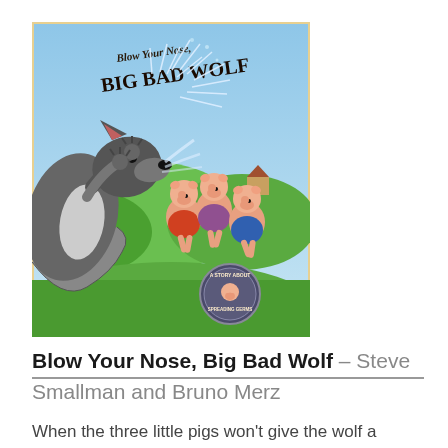[Figure (illustration): Book cover of 'Blow Your Nose, Big Bad Wolf' illustrated with a cartoon wolf sneezing and three little pigs running away on a green hillside. Circular badge reads 'A Story About Spreading Germs'.]
Blow Your Nose, Big Bad Wolf – Steve Smallman and Bruno Merz
When the three little pigs won't give the wolf a